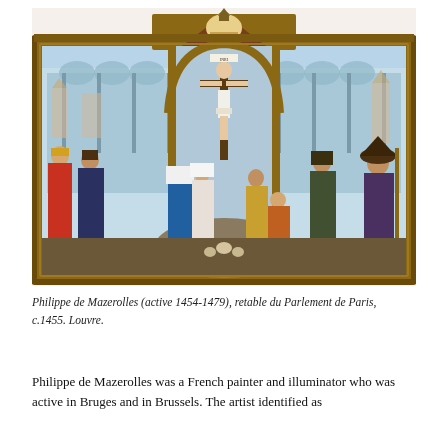[Figure (illustration): Philippe de Mazerolles, retable du Parlement de Paris, c.1455. A large Gothic altarpiece painting showing the Crucifixion at center with figures in colorful robes surrounding the cross. The triptych is set within a Gothic arch frame with decorative carved top pinnacle featuring God the Father. Architectural backgrounds with arched colonnades visible on left and right panels.]
Philippe de Mazerolles (active 1454-1479), retable du Parlement de Paris, c.1455. Louvre.
Philippe de Mazerolles was a French painter and illuminator who was active in Bruges and in Brussels. The artist identified as